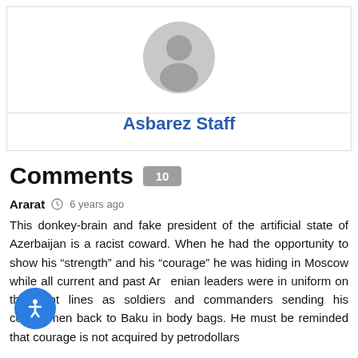[Figure (illustration): Gray default avatar/profile photo placeholder showing a silhouette of a person]
Asbarez Staff
Comments 10
Ararat   6 years ago
This donkey-brain and fake president of the artificial state of Azerbaijan is a racist coward. When he had the opportunity to show his “strength” and his “courage” he was hiding in Moscow while all current and past Armenian leaders were in uniform on the front lines as soldiers and commanders sending his countrymen back to Baku in body bags. He must be reminded that courage is not acquired by petrodollars